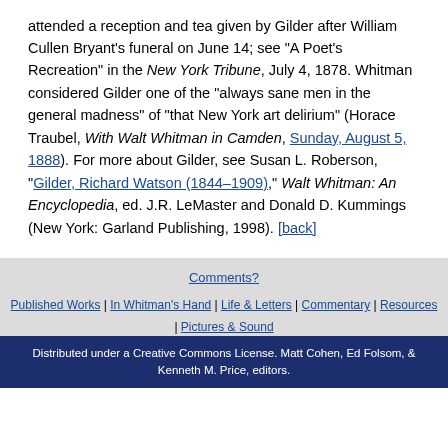attended a reception and tea given by Gilder after William Cullen Bryant's funeral on June 14; see "A Poet's Recreation" in the New York Tribune, July 4, 1878. Whitman considered Gilder one of the "always sane men in the general madness" of "that New York art delirium" (Horace Traubel, With Walt Whitman in Camden, Sunday, August 5, 1888). For more about Gilder, see Susan L. Roberson, "Gilder, Richard Watson (1844–1909)," Walt Whitman: An Encyclopedia, ed. J.R. LeMaster and Donald D. Kummings (New York: Garland Publishing, 1998). [back]
Comments? | Published Works | In Whitman's Hand | Life & Letters | Commentary | Resources | Pictures & Sound | Support the Archive | About the Archive | Distributed under a Creative Commons License. Matt Cohen, Ed Folsom, & Kenneth M. Price, editors.